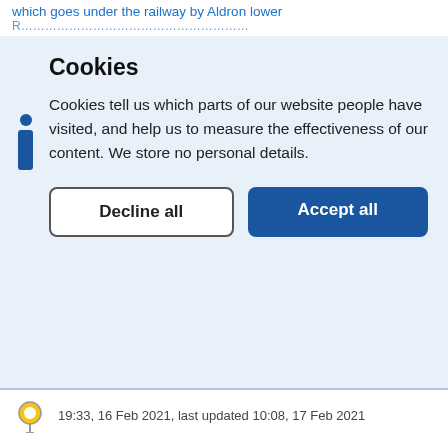which goes under the railway by Aldron lower R…
Cookies
Cookies tell us which parts of our website people have visited, and help us to measure the effectiveness of our content. We store no personal details.
Decline all | Accept all
19:33, 16 Feb 2021, last updated 10:08, 17 Feb 2021
Messy footpath and car park
10:39, 16 Feb 2021 (sent to South Oxfordshire District Council)